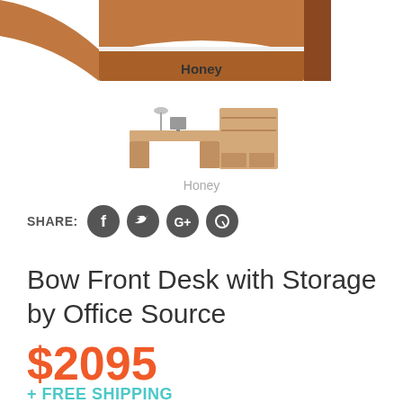[Figure (photo): Partial top view of a honey-colored bow front desk, cropped at top of page]
Honey
[Figure (photo): Small thumbnail image of office desk set in honey color with hutch and storage]
Honey
SHARE:
Bow Front Desk with Storage by Office Source
$2095
+ FREE SHIPPING